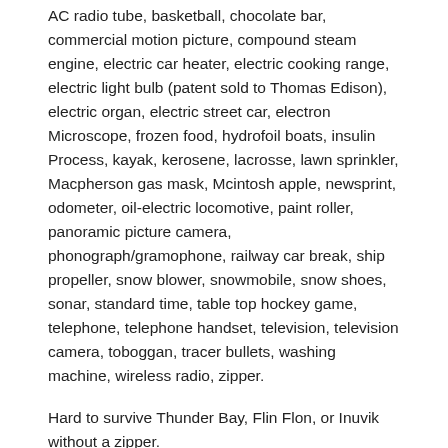AC radio tube, basketball, chocolate bar, commercial motion picture, compound steam engine, electric car heater, electric cooking range, electric light bulb (patent sold to Thomas Edison), electric organ, electric street car, electron Microscope, frozen food, hydrofoil boats, insulin Process, kayak, kerosene, lacrosse, lawn sprinkler, Macpherson gas mask, Mcintosh apple, newsprint, odometer, oil-electric locomotive, paint roller, panoramic picture camera, phonograph/gramophone, railway car break, ship propeller, snow blower, snowmobile, snow shoes, sonar, standard time, table top hockey game, telephone, telephone handset, television, television camera, toboggan, tracer bullets, washing machine, wireless radio, zipper.
Hard to survive Thunder Bay, Flin Flon, or Inuvik without a zipper.